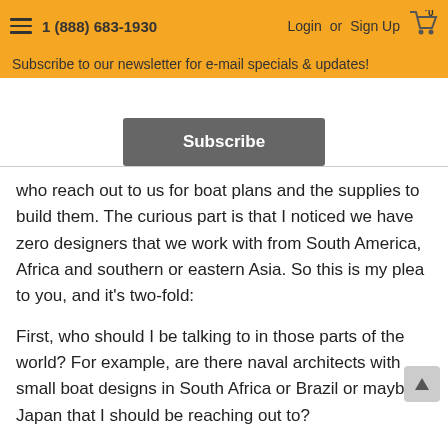1 (888) 683-1930  Login or Sign Up
Subscribe to our newsletter for e-mail specials & updates!
Subscribe
who reach out to us for boat plans and the supplies to build them. The curious part is that I noticed we have zero designers that we work with from South America, Africa and southern or eastern Asia. So this is my plea to you, and it's two-fold:
First, who should I be talking to in those parts of the world? For example, are there naval architects with small boat designs in South Africa or Brazil or maybe Japan that I should be reaching out to?
And second, are there designers or designs out there that you would love to see be made available through Duckworks regardless of what part of the world they hail from?